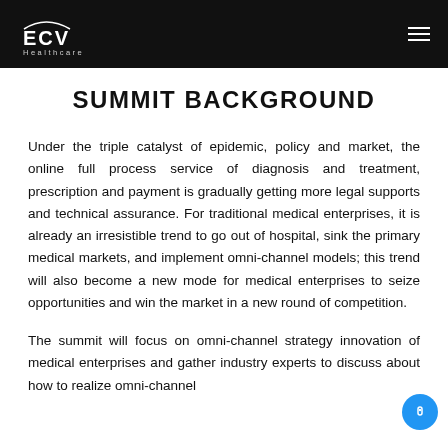ECV Healthcare
SUMMIT BACKGROUND
Under the triple catalyst of epidemic, policy and market, the online full process service of diagnosis and treatment, prescription and payment is gradually getting more legal supports and technical assurance. For traditional medical enterprises, it is already an irresistible trend to go out of hospital, sink the primary medical markets, and implement omni-channel models; this trend will also become a new mode for medical enterprises to seize opportunities and win the market in a new round of competition.
The summit will focus on omni-channel strategy innovation of medical enterprises and gather industry experts to discuss about how to realize omni-channel